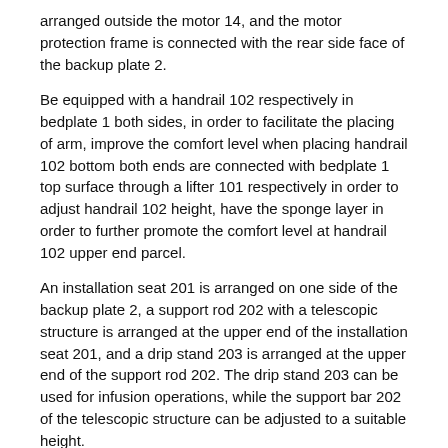arranged outside the motor 14, and the motor protection frame is connected with the rear side face of the backup plate 2.
Be equipped with a handrail 102 respectively in bedplate 1 both sides, in order to facilitate the placing of arm, improve the comfort level when placing handrail 102 bottom both ends are connected with bedplate 1 top surface through a lifter 101 respectively in order to adjust handrail 102 height, have the sponge layer in order to further promote the comfort level at handrail 102 upper end parcel.
An installation seat 201 is arranged on one side of the backup plate 2, a support rod 202 with a telescopic structure is arranged at the upper end of the installation seat 201, and a drip stand 203 is arranged at the upper end of the support rod 202. The drip stand 203 can be used for infusion operations, while the support bar 202 of the telescopic structure can be adjusted to a suitable height.
Be equipped with handle 19 in backup plate 2 rear side, family members can hold handle 19 cooperation front wheel 5 and rear wheel 6 and remove the patient, and the surface cover is equipped with the rubber layer in handle